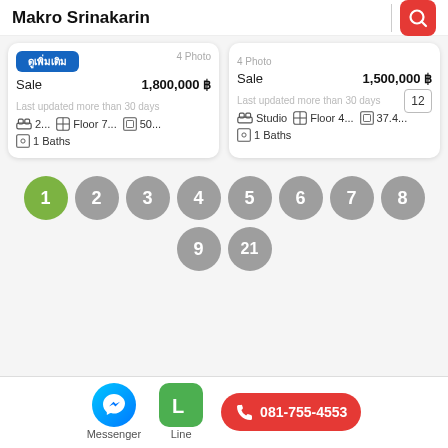Makro Srinakarin
Sale  1,800,000 ฿
Last updated more than 30 days
2...  Floor 7...  50...  1 Baths
Sale  1,500,000 ฿
12
Last updated more than 30 days
Studio  Floor 4...  37.4...  1 Baths
1 2 3 4 5 6 7 8 9 21
Messenger  Line  081-755-4553